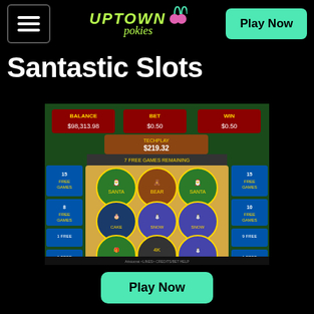Uptown Pokies — Play Now
Santastic Slots
[Figure (screenshot): Screenshot of Santastic Slots casino game showing reels with Christmas-themed symbols (Santa, snowman, teddy bear, presents), balance $98,313.98, bet $0.50, win $0.50, jackpot $219.32, 7 Free Games Remaining]
Play Now
Santastic Slots is full of festive cheer and will really get you into the Christmas Spirit. You can win all sorts of prizes if you